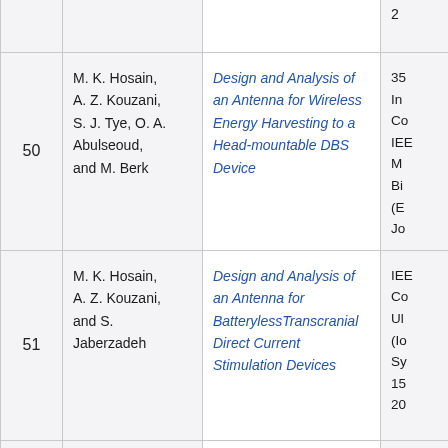| # | Authors | Title | Venue |
| --- | --- | --- | --- |
| 50 | M. K. Hosain, A. Z. Kouzani, S. J. Tye, O. A. Abulseoud, and M. Berk | Design and Analysis of an Antenna for Wireless Energy Harvesting to a Head-mountable DBS Device | 35
In
Co
IEE
M
Bi
(E
Jo |
| 51 | M. K. Hosain, A. Z. Kouzani, and S. Jaberzadeh | Design and Analysis of an Antenna for BatterylessTranscranial Direct Current Stimulation Devices | IEE
Co
Ul
(Io
Sy
15
20 |
| 52 | A. Z. Kouzani, | A low power micro | Tr |